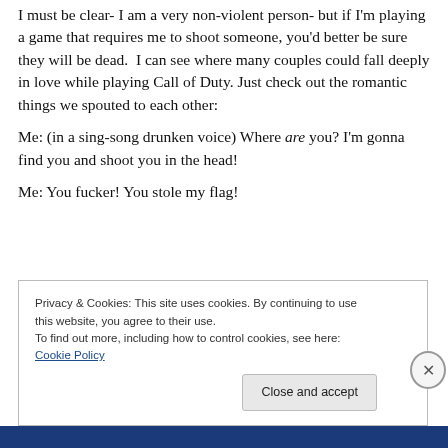I must be clear- I am a very non-violent person- but if I'm playing a game that requires me to shoot someone, you'd better be sure they will be dead.  I can see where many couples could fall deeply in love while playing Call of Duty. Just check out the romantic things we spouted to each other:
Me: (in a sing-song drunken voice) Where are you? I'm gonna find you and shoot you in the head!
Me: You fucker! You stole my flag!
Privacy & Cookies: This site uses cookies. By continuing to use this website, you agree to their use.
To find out more, including how to control cookies, see here: Cookie Policy